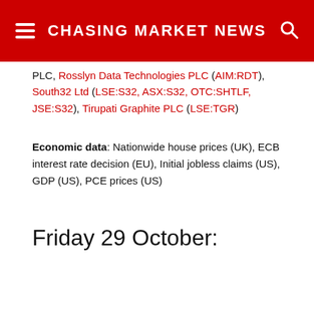CHASING MARKET NEWS
PLC, Rosslyn Data Technologies PLC (AIM:RDT), South32 Ltd (LSE:S32, ASX:S32, OTC:SHTLF, JSE:S32), Tirupati Graphite PLC (LSE:TGR)
Economic data: Nationwide house prices (UK), ECB interest rate decision (EU), Initial jobless claims (US), GDP (US), PCE prices (US)
Friday 29 October: